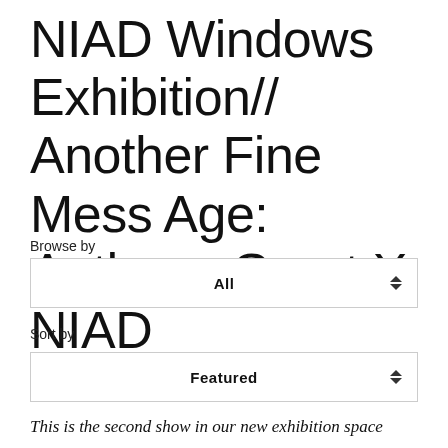NIAD Windows Exhibition// Another Fine Mess Age: Anthony Grant X NIAD
Browse by
All
Sort by
Featured
This is the second show in our new exhibition space